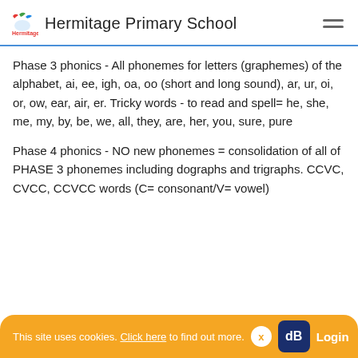Hermitage Primary School
Phase 3 phonics - All phonemes for letters (graphemes) of the alphabet, ai, ee, igh, oa, oo (short and long sound), ar, ur, oi, or, ow, ear, air, er. Tricky words - to read and spell= he, she, me, my, by, be, we, all, they, are, her, you, sure, pure
Phase 4 phonics - NO new phonemes = consolidation of all of PHASE 3 phonemes including dographs and trigraphs. CCVC, CVCC, CCVCC words (C= consonant/V= vowel)
This site uses cookies. Click here to find out more. x Login